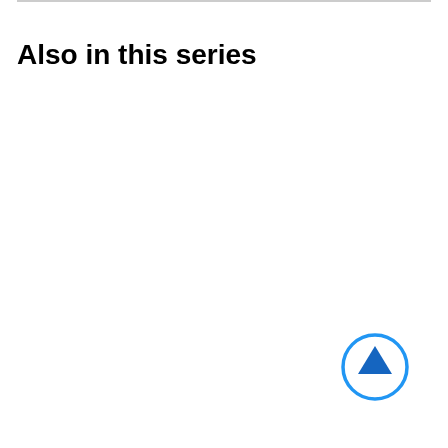Also in this series
[Figure (illustration): A blue circle with an upward-pointing arrow icon, used as a navigation button to scroll to the top of the page.]